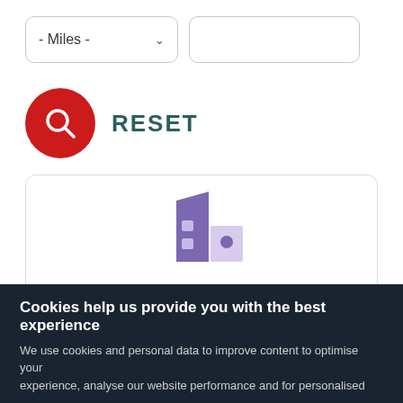[Figure (screenshot): Dropdown select box showing '- Miles -' with a chevron arrow, and an empty text input box beside it]
[Figure (screenshot): Red circular search icon button with magnifying glass, next to bold teal 'RESET' text link]
[Figure (logo): Purple and lavender building/office icon logo for a fashion accessory company]
CRM Manager Part-Time Fashion Accessory...
GUILDFORD, ENGL...
Cookies help us provide you with the best experience
We use cookies and personal data to improve content to optimise your experience, analyse our website performance and for personalised